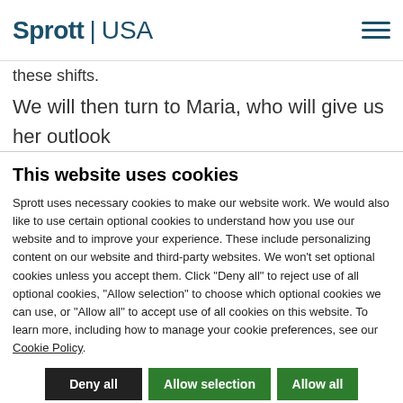Sprott | USA
these shifts.
We will then turn to Maria, who will give us her outlook
This website uses cookies
Sprott uses necessary cookies to make our website work. We would also like to use certain optional cookies to understand how you use our website and to improve your experience. These include personalizing content on our website and third-party websites. We won't set optional cookies unless you accept them. Click "Deny all" to reject use of all optional cookies, "Allow selection" to choose which optional cookies we can use, or "Allow all" to accept use of all cookies on this website. To learn more, including how to manage your cookie preferences, see our Cookie Policy.
Deny all | Allow selection | Allow all
Necessary  Preferences  Statistics  Marketing  Show details